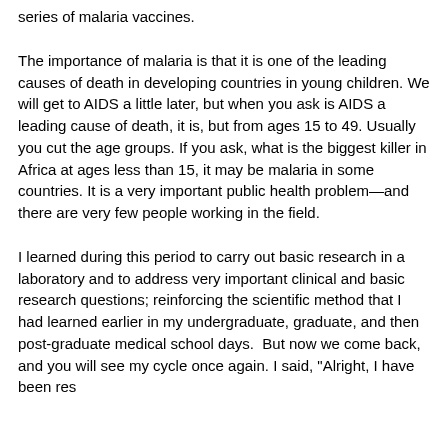series of malaria vaccines.
The importance of malaria is that it is one of the leading causes of death in developing countries in young children. We will get to AIDS a little later, but when you ask is AIDS a leading cause of death, it is, but from ages 15 to 49. Usually you cut the age groups. If you ask, what is the biggest killer in Africa at ages less than 15, it may be malaria in some countries. It is a very important public health problem—and there are very few people working in the field.
I learned during this period to carry out basic research in a laboratory and to address very important clinical and basic research questions; reinforcing the scientific method that I had learned earlier in my undergraduate, graduate, and then post-graduate medical school days.  But now we come back, and you will see my cycle once again. I said, "Alright, I have been working without a for many years. Thi